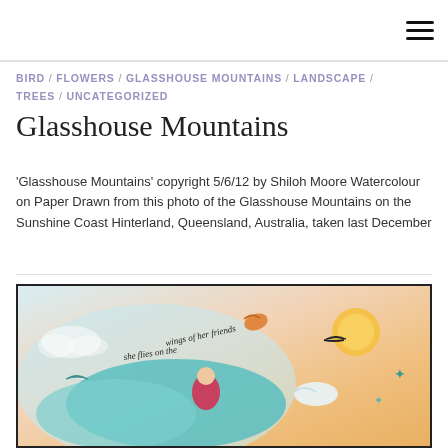Navigation header with hamburger menu
BIRD / FLOWERS / GLASSHOUSE MOUNTAINS / LANDSCAPE / TREES / UNCATEGORIZED
Glasshouse Mountains
'Glasshouse Mountains' copyright 5/6/12 by Shiloh Moore Watercolour on Paper Drawn from this photo of the Glasshouse Mountains on the Sunshine Coast Hinterland, Queensland, Australia, taken last December
[Figure (illustration): Watercolour painting showing a girl flying on a bird with other birds, with text 'she flies on the wings of her friends', warm orange sky with sun, teal and blue tones, framed image]